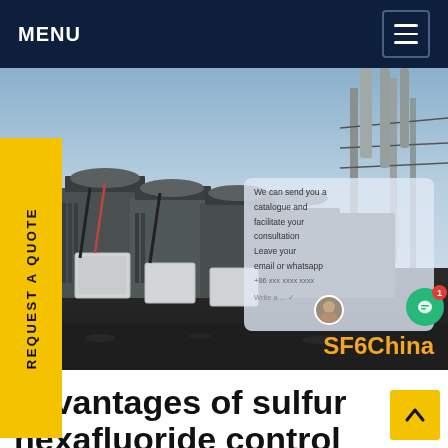MENU
[Figure (photo): Industrial electrical substation with large power transformers and equipment rows, outdoor setting with blue sky]
REQUEST A QUOTE
SF6China
advantages of sulfur hexafluoride control in Italy